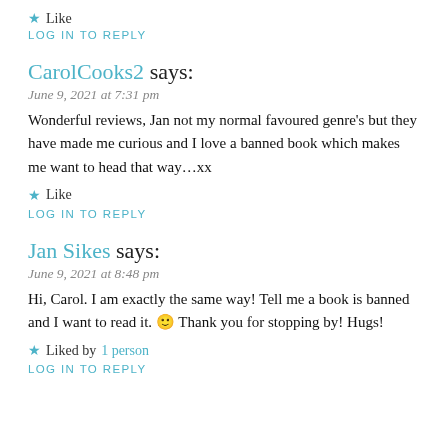★ Like
LOG IN TO REPLY
CarolCooks2 says:
June 9, 2021 at 7:31 pm
Wonderful reviews, Jan not my normal favoured genre's but they have made me curious and I love a banned book which makes me want to head that way…xx
★ Like
LOG IN TO REPLY
Jan Sikes says:
June 9, 2021 at 8:48 pm
Hi, Carol. I am exactly the same way! Tell me a book is banned and I want to read it. 🙂 Thank you for stopping by! Hugs!
★ Liked by 1 person
LOG IN TO REPLY